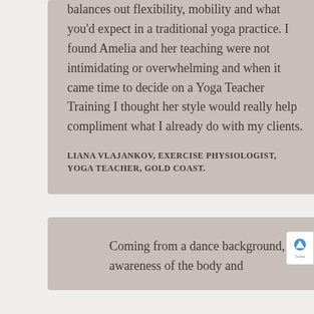balances out flexibility, mobility and what you'd expect in a traditional yoga practice. I found Amelia and her teaching were not intimidating or overwhelming and when it came time to decide on a Yoga Teacher Training I thought her style would really help compliment what I already do with my clients.
LIANA VLAJANKOV, EXERCISE PHYSIOLOGIST, YOGA TEACHER, GOLD COAST.
[Figure (illustration): Circular dark taupe quotation mark icon]
Coming from a dance background, the awareness of the body and